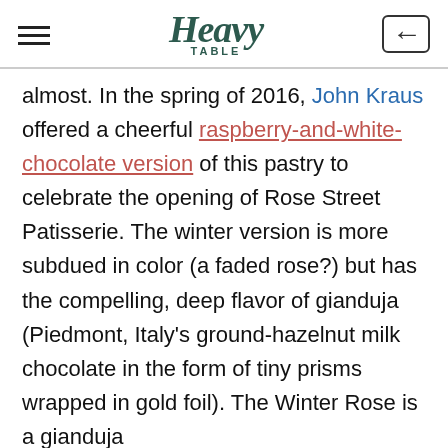Heavy Table
almost. In the spring of 2016, John Kraus offered a cheerful raspberry-and-white-chocolate version of this pastry to celebrate the opening of Rose Street Patisserie. The winter version is more subdued in color (a faded rose?) but has the compelling, deep flavor of gianduja (Piedmont, Italy's ground-hazelnut milk chocolate in the form of tiny prisms wrapped in gold foil). The Winter Rose is a gianduja